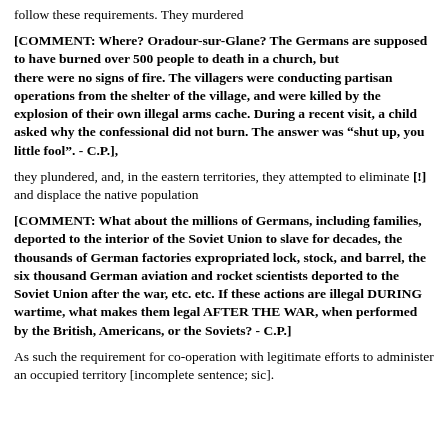follow these requirements. They murdered
[COMMENT: Where? Oradour-sur-Glane? The Germans are supposed to have burned over 500 people to death in a church, but there were no signs of fire. The villagers were conducting partisan operations from the shelter of the village, and were killed by the explosion of their own illegal arms cache. During a recent visit, a child asked why the confessional did not burn. The answer was “shut up, you little fool”. - C.P.],
they plundered, and, in the eastern territories, they attempted to eliminate [!] and displace the native population
[COMMENT: What about the millions of Germans, including families, deported to the interior of the Soviet Union to slave for decades, the thousands of German factories expropriated lock, stock, and barrel, the six thousand German aviation and rocket scientists deported to the Soviet Union after the war, etc. etc. If these actions are illegal DURING wartime, what makes them legal AFTER THE WAR, when performed by the British, Americans, or the Soviets? - C.P.]
As such the requirement for co-operation with legitimate efforts to administer an occupied territory [incomplete sentence; sic].